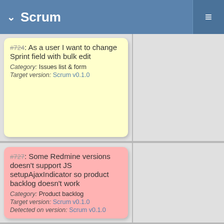Scrum
#724: As a user I want to change Sprint field with bulk edit
Category: Issues list & form
Target version: Scrum v0.1.0
#727: Some Redmine versions doesn't support JS setupAjaxIndicator so product backlog doesn't work
Category: Product backlog
Target version: Scrum v0.1.0
Detected on version: Scrum v0.1.0
#711: As a user I want to filter issues by Sprint
Category: Issues list & form
Target version: Scrum v0.1.0